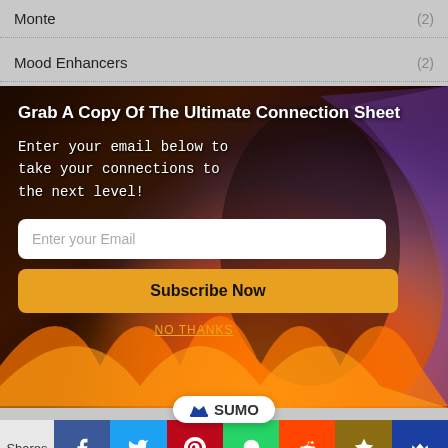Monte (2)
Mood Enhancers (2)
[Figure (infographic): Email subscription popup with fire/flame background image showing two figures. Contains title 'Grab A Copy Of The Ultimate Connection Sheet', subtitle text, email input field, Subscribe Now button, and NO THANKS link.]
obe diet (3)
SUMO
Shares